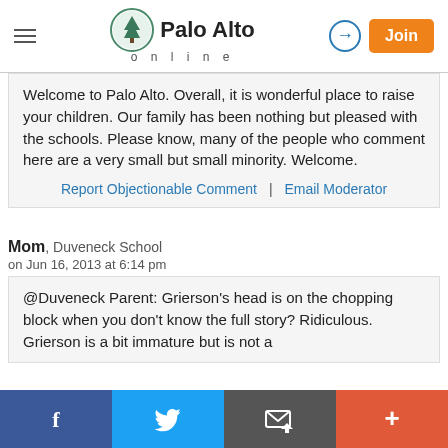Palo Alto online
Welcome to Palo Alto. Overall, it is wonderful place to raise your children. Our family has been nothing but pleased with the schools. Please know, many of the people who comment here are a very small but small minority. Welcome.
Report Objectionable Comment | Email Moderator
Mom, Duveneck School
on Jun 16, 2013 at 6:14 pm
@Duveneck Parent: Grierson's head is on the chopping block when you don't know the full story? Ridiculous. Grierson is a bit immature but is not a